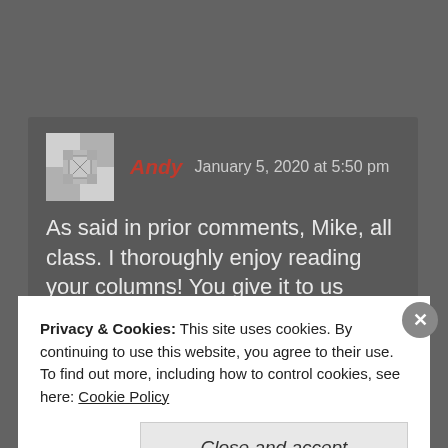Andy   January 5, 2020 at 5:50 pm
As said in prior comments, Mike, all class. I thoroughly enjoy reading your columns! You give it to us straight, no sugar-coating or obvious bias, which is appreciated. Thank you for the time and effort you give to connecting us fans!
Privacy & Cookies: This site uses cookies. By continuing to use this website, you agree to their use.
To find out more, including how to control cookies, see here: Cookie Policy
Close and accept